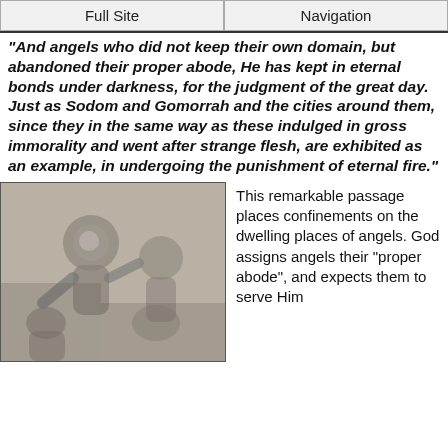Full Site | Navigation
"And angels who did not keep their own domain, but abandoned their proper abode, He has kept in eternal bonds under darkness, for the judgment of the great day. Just as Sodom and Gomorrah and the cities around them, since they in the same way as these indulged in gross immorality and went after strange flesh, are exhibited as an example, in undergoing the punishment of eternal fire."
[Figure (photo): A classical relief sculpture depicting fallen angels or tormented figures in dramatic poses, rendered in grayscale.]
This remarkable passage places confinements on the dwelling places of angels. God assigns angels their "proper abode", and expects them to serve Him